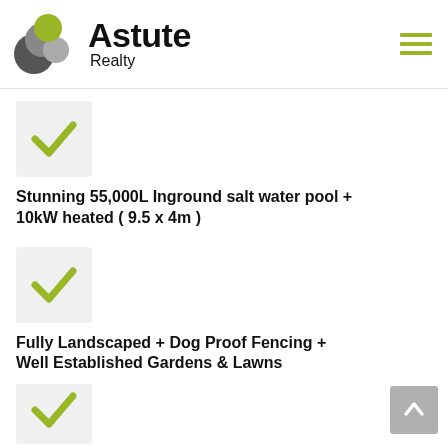[Figure (logo): Astute Realty logo with overlapping circles in grey and green, bold text 'Astute' and lighter 'Realty' below]
Stunning 55,000L Inground salt water pool + 10kW heated ( 9.5 x 4m )
Fully Landscaped + Dog Proof Fencing + Well Established Gardens & Lawns